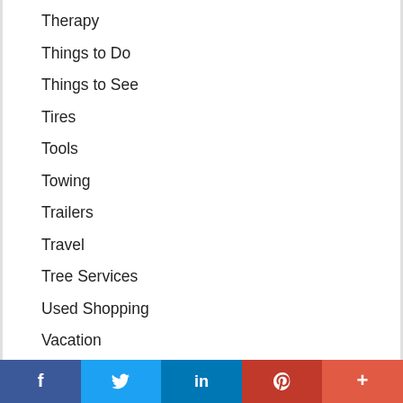Therapy
Things to Do
Things to See
Tires
Tools
Towing
Trailers
Travel
Tree Services
Used Shopping
Vacation
Vacation & Travel
Vacation Rentals
Vehicles
f  (Twitter bird)  in  P  +